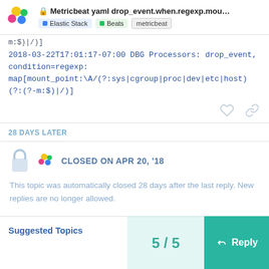Metricbeat yaml drop_event.when.regexp.mou... | Elastic Stack | Beats | metricbeat
m:$)|/)]
2018-03-22T17:01:17-07:00 DBG Processors: drop_event, condition=regexp: map[mount_point:\A/(?:sys|cgroup|proc|dev|etc|host)(?:(?-m:$)|/)]
28 DAYS LATER
CLOSED ON APR 20, '18
This topic was automatically closed 28 days after the last reply. New replies are no longer allowed.
5 / 5
Suggested Topics